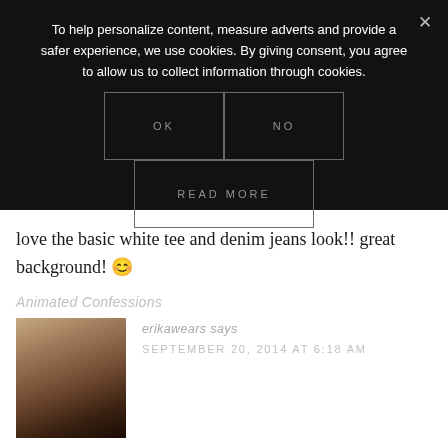To help personalize content, measure adverts and provide a safer experience, we use cookies. By giving consent, you agree to allow us to collect information through cookies.
[Figure (screenshot): Cookie consent dialog with OK, NO, and READ MORE buttons on dark overlay]
love the basic white tee and denim jeans look!! great background! 😊
Animated Confessions
[Figure (photo): Portrait photo of a young woman with long dark hair, resting chin on hand]
erikawears says
SEPTEMBER 20, 2014 AT 6:18 AM